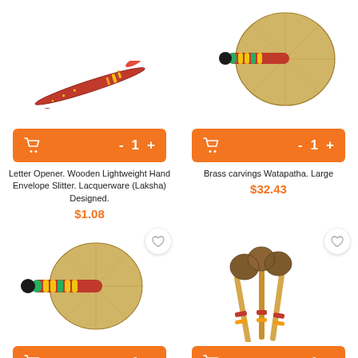[Figure (photo): Red lacquerware wooden letter opener/envelope slitter with painted design]
[Figure (photo): Brass carvings Watapatha fan, large, with red and green painted handle]
Letter Opener. Wooden Lightweight Hand Envelope Slitter. Lacquerware (Laksha) Designed.
$1.08
Brass carvings Watapatha. Large
$32.43
[Figure (photo): Brass carvings Watapatha fan, medium, with red and green painted handle]
[Figure (photo): Set of three decorative sticks/mallets with coconut shell heads and wrapped handles]